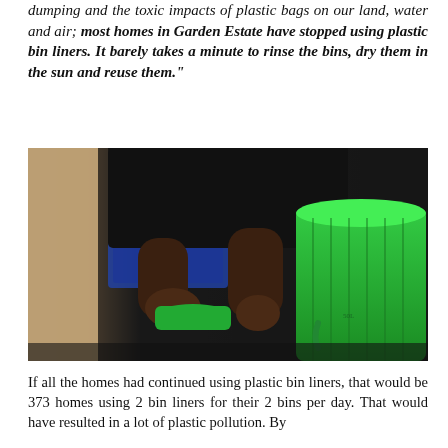dumping and the toxic impacts of plastic bags on our land, water and air; most homes in Garden Estate have stopped using plastic bin liners. It barely takes a minute to rinse the bins, dry them in the sun and reuse them."
[Figure (photo): A person rinsing/washing a green plastic bin or bucket at a tap or sink, with another green bin visible to the right. The background is dark with a blue crate visible.]
If all the homes had continued using plastic bin liners, that would be 373 homes using 2 bin liners for their 2 bins per day. That would have resulted in a lot of plastic pollution. By